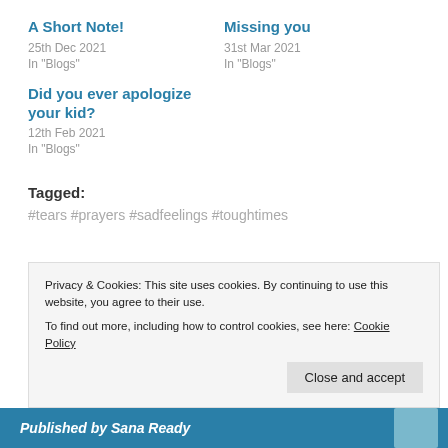A Short Note!
25th Dec 2021
In "Blogs"
Missing you
31st Mar 2021
In "Blogs"
Did you ever apologize your kid?
12th Feb 2021
In "Blogs"
Tagged:
#tears #prayers #sadfeelings #toughtimes
Privacy & Cookies: This site uses cookies. By continuing to use this website, you agree to their use.
To find out more, including how to control cookies, see here: Cookie Policy
Close and accept
Published by Sana Ready